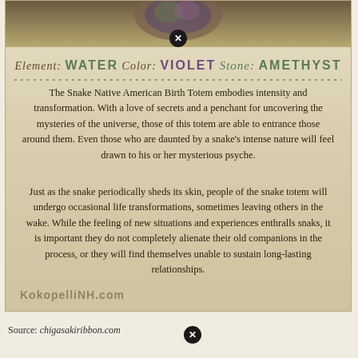[Figure (illustration): Decorative card with parchment background showing Native American Snake Birth Totem information with ornamental top image area]
Element: WATER  Color: VIOLET  Stone: AMETHYST
The Snake Native American Birth Totem embodies intensity and transformation. With a love of secrets and a penchant for uncovering the mysteries of the universe, those of this totem are able to entrance those around them. Even those who are daunted by a snake's intense nature will feel drawn to his or her mysterious psyche.
Just as the snake periodically sheds its skin, people of the snake totem will undergo occasional life transformations, sometimes leaving others in the wake. While the feeling of new situations and experiences enthralls snaks, it is important they do not completely alienate their old companions in the process, or they will find themselves unable to sustain long-lasting relationships.
KokopelliNH.com
Source: chigasakiribbon.com